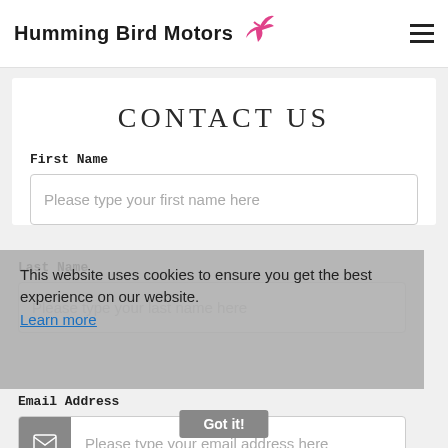Humming Bird Motors
CONTACT US
First Name
Please type your first name here
Last Name
Please type your last name here
This website uses cookies to ensure you get the best experience on our website.
Learn more
Got it!
Email Address
Please type your email address here